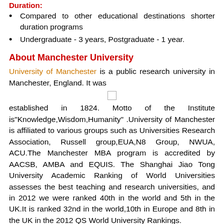Compared to other educational destinations shorter duration programs
Undergraduate - 3 years, Postgraduate - 1 year.
About Manchester University
University of Manchester is a public research university in Manchester, England. It was established in 1824. Motto of the Institute is"Knowledge,Wisdom,Humanity" .University of Manchester is affiliated to various groups such as Universities Research Association, Russell group,EUA,N8 Group, NWUA, ACU.The Manchester MBA program is accredited by AACSB, AMBA and EQUIS. The Shanghai Jiao Tong University Academic Ranking of World Universities assesses the best teaching and research universities, and in 2012 we were ranked 40th in the world and 5th in the UK.It is ranked 32nd in the world,10th in Europe and 8th in the UK in the 2012 QS World University Rankings.
In 2012, the university has around 39000 students and